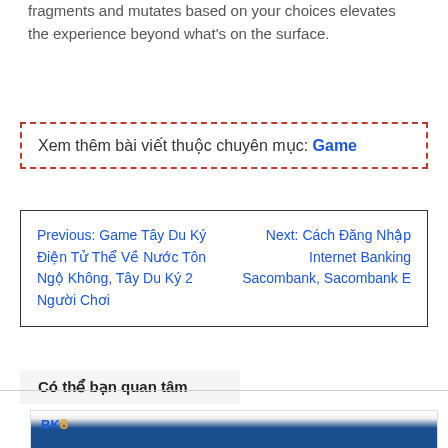fragments and mutates based on your choices elevates the experience beyond what's on the surface.
Xem thêm bài viết thuộc chuyên mục: Game
Previous: Game Tây Du Ký Điện Tử Thể Về Nước Tôn Ngộ Không, Tây Du Ký 2 Người Chơi
Next: Cách Đăng Nhập Internet Banking Sacombank, Sacombank E
Có thể bạn quan tâm
[Figure (screenshot): Screenshot of BK8 website showing logo and navigation bar]